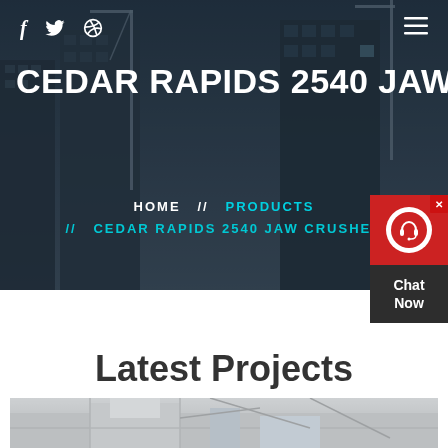f  🐦  ⊕  ≡
CEDAR RAPIDS 2540 JAW CRUSHER
HOME  //  PRODUCTS  //  CEDAR RAPIDS 2540 JAW CRUSHER
[Figure (screenshot): Chat Now widget with red background and headset icon]
Latest Projects
[Figure (photo): Industrial machinery/equipment photo showing a jaw crusher installation]